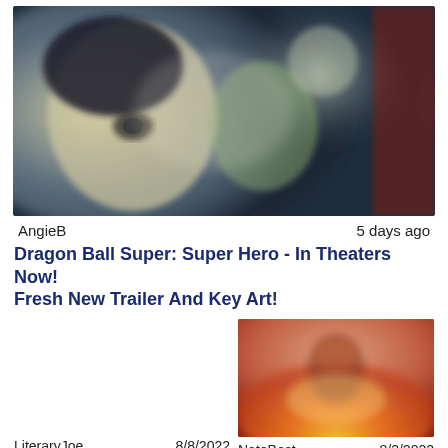[Figure (illustration): Blurred anime-style illustration showing two characters close together, dark background with glowing light effects]
AngieB	5 days ago
Dragon Ball Super: Super Hero - In Theaters Now! Fresh New Trailer And Key Art!
[Figure (photo): Blurred photo with warm orange and sunset tones, appears to show a person with reddish background]
LiteraryJoe	8/8/2022	NateBest	8/2/2022